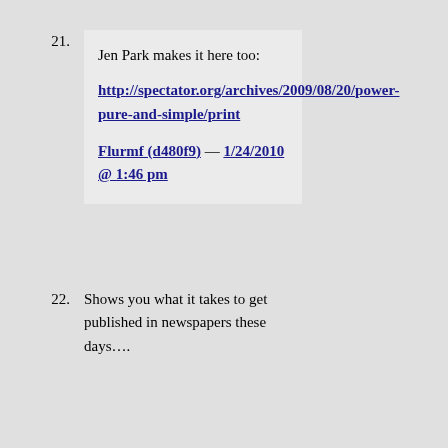21. Jen Park makes it here too: http://spectator.org/archives/2009/08/20/power-pure-and-simple/print Flurmf (d480f9) — 1/24/2010 @ 1:46 pm
22. Shows you what it takes to get published in newspapers these days….